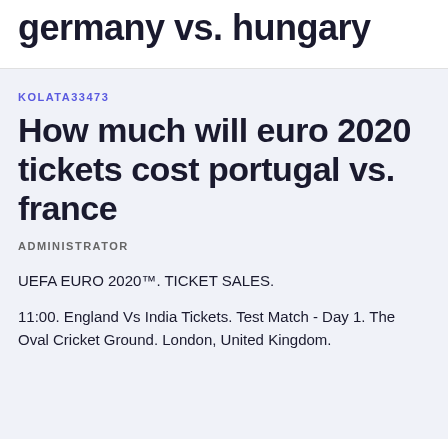germany vs. hungary
KOLATA33473
How much will euro 2020 tickets cost portugal vs. france
ADMINISTRATOR
UEFA EURO 2020™. TICKET SALES.
11:00. England Vs India Tickets. Test Match - Day 1. The Oval Cricket Ground. London, United Kingdom.